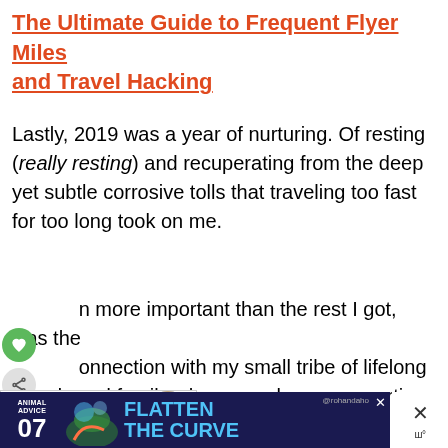The Ultimate Guide to Frequent Flyer Miles and Travel Hacking
Lastly, 2019 was a year of nurturing. Of resting (really resting) and recuperating from the deep yet subtle corrosive tolls that traveling too fast for too long took on me.
Even more important than the rest I got, was the connection with my small tribe of lifelong friends and family who were always supportive [for] years, but because of distance we weren't truly involved in one another's lives.
[Figure (screenshot): WHAT'S NEXT arrow promo linking to 'Bali Didn't Choose Me,...' with a circular portrait photo thumbnail]
[Figure (screenshot): Ad banner at bottom: Animal Advice 07, Flatten The Curve, @rohandaho, with close button and audio icon on right]